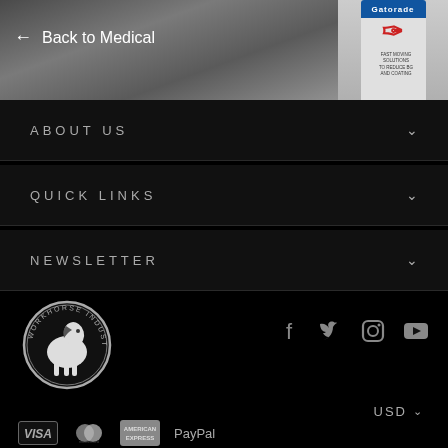[Figure (photo): Dark grey textured background with a product can (Gatorade or similar sports drink) visible in the top right corner]
← Back to Medical
ABOUT US
QUICK LINKS
NEWSLETTER
[Figure (logo): Workhorse Industries circular logo with horse illustration in black and white]
[Figure (infographic): Social media icons: Facebook, Twitter, Instagram, YouTube]
USD
[Figure (infographic): Payment method logos: VISA, Mastercard, American Express, PayPal]